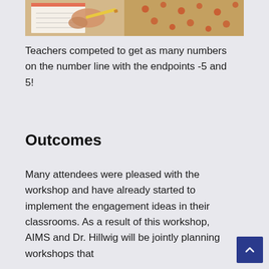[Figure (photo): Cropped photo of hands writing/working at a desk with papers and a patterned floor/tablecloth visible in the background.]
Teachers competed to get as many numbers on the number line with the endpoints -5 and 5!
Outcomes
Many attendees were pleased with the workshop and have already started to implement the engagement ideas in their classrooms. As a result of this workshop, AIMS and Dr. Hillwig will be jointly planning workshops that